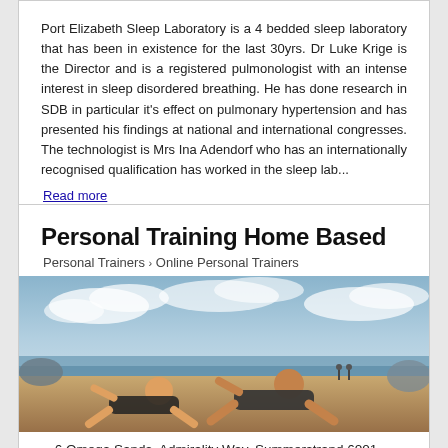Port Elizabeth Sleep Laboratory is a 4 bedded sleep laboratory that has been in existence for the last 30yrs. Dr Luke Krige is the Director and is a registered pulmonologist with an intense interest in sleep disordered breathing. He has done research in SDB in particular it's effect on pulmonary hypertension and has presented his findings at national and international congresses. The technologist is Mrs Ina Adendorf who has an internationally recognised qualification has worked in the sleep lab... Read more
Personal Training Home Based
Personal Trainers > Online Personal Trainers
[Figure (photo): Two people doing push-up exercise position on a beach with ocean and cloudy sky in background]
6 Omega Sands, Admirality Way, Summerstrand 6001, Eastern C...